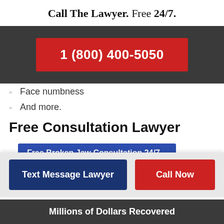Call The Lawyer. Free 24/7.
[Figure (other): Dark grey banner with red call-to-action button showing phone number 1 (800) 400-5050]
Face numbness
And more.
Free Consultation Lawyer
Free Broken Jaw Consultation 24/7
Text Message Lawyer | Call Now
Millions of Dollars Recovered